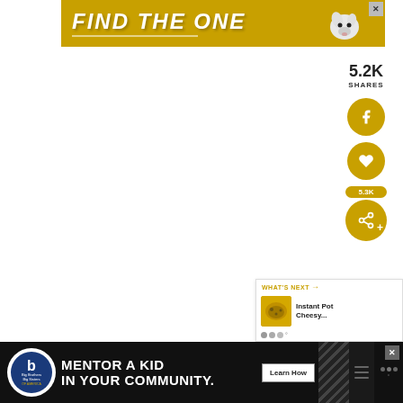[Figure (other): Advertisement banner: yellow/gold background with bold italic text 'FIND THE ONE' with a dog image on the right and an X close button]
5.2K
SHARES
[Figure (other): Facebook share circle button (gold)]
[Figure (other): Heart/like circle button (gold)]
[Figure (other): Share button circle (gold) with count 5.3K]
[Figure (other): What's Next card: Instant Pot Cheesy... with food thumbnail and brand logo dots]
[Figure (other): Bottom advertisement bar: Big Brothers Big Sisters - MENTOR A KID IN YOUR COMMUNITY with Learn How button, diagonal decorative lines, hamburger menu, and brand logo]